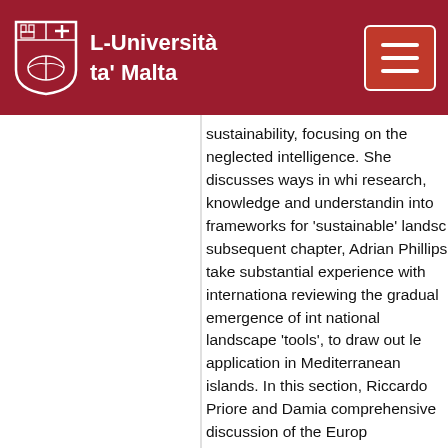L-Università ta' Malta
sustainability, focusing on the neglected intelligence. She discusses ways in which research, knowledge and understanding into frameworks for 'sustainable' landscape subsequent chapter, Adrian Phillips takes substantial experience with international reviewing the gradual emergence of international national landscape 'tools', to draw out lessons for application in Mediterranean islands. In this section, Riccardo Priore and Damia comprehensive discussion of the European Convention, the first international instrument exclusively on landscape. The authors discuss innovative character of this convention, and potential implementation in Mediterranean publication concludes with a series of chapters highlighting specific constraints, experiences and opportunities in different Mediterranean Terkenli explores the landscapes of tourism Mediterranean islands – perhaps nearly